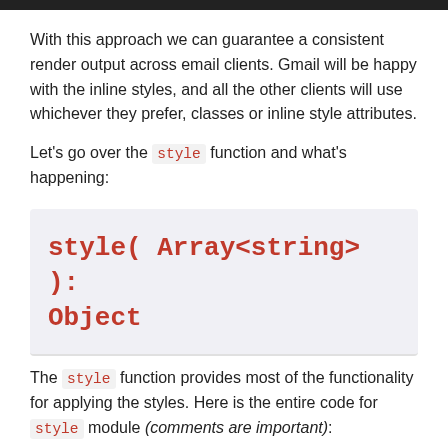With this approach we can guarantee a consistent render output across email clients. Gmail will be happy with the inline styles, and all the other clients will use whichever they prefer, classes or inline style attributes.
Let's go over the style function and what's happening:
[Figure (screenshot): Code signature block showing: style( Array<string> ): Object in red monospace on light gray background]
The style function provides most of the functionality for applying the styles. Here is the entire code for style module (comments are important):
[Figure (screenshot): Dark code block showing: const bootstrap = require("/path/to/bootstrap.c... and export const applyStyle = (selectors, style...]